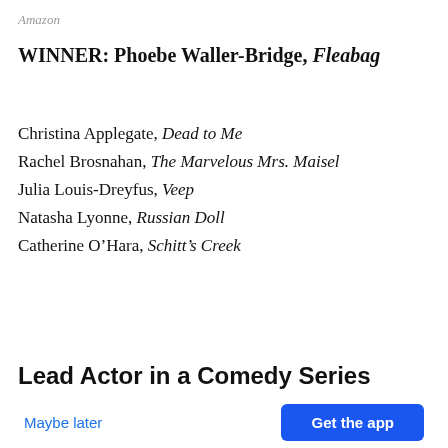Amazon
WINNER: Phoebe Waller-Bridge, Fleabag
Christina Applegate, Dead to Me
Rachel Brosnahan, The Marvelous Mrs. Maisel
Julia Louis-Dreyfus, Veep
Natasha Lyonne, Russian Doll
Catherine O’Hara, Schitt’s Creek
Lead Actor in a Comedy Series
[Figure (infographic): BuzzFeed app notification prompt with red circular BuzzFeed logo icon showing a trending arrow, title 'Get the latest news in the app!', subtitle 'Stay up to date on the most breaking news, all from your BuzzFeed app.', a 'Maybe later' text link and a blue 'Get the app' button.]